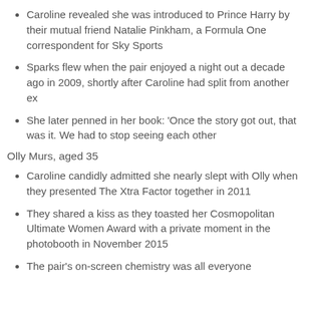Caroline revealed she was introduced to Prince Harry by their mutual friend Natalie Pinkham, a Formula One correspondent for Sky Sports
Sparks flew when the pair enjoyed a night out a decade ago in 2009, shortly after Caroline had split from another ex
She later penned in her book: ‘Once the story got out, that was it. We had to stop seeing each other
Olly Murs, aged 35
Caroline candidly admitted she nearly slept with Olly when they presented The Xtra Factor together in 2011
They shared a kiss as they toasted her Cosmopolitan Ultimate Women Award with a private moment in the photobooth in November 2015
The pair’s on-screen chemistry was all everyone